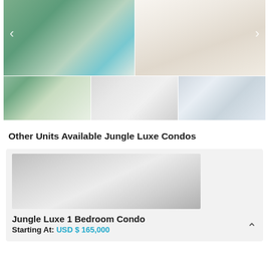[Figure (photo): Real estate photo gallery showing luxury condo: top row has pool/outdoor area on left and white modern kitchen on right; bottom row has three thumbnails showing lounge area, sketch rendering of interior, and building exterior with balconies]
Other Units Available Jungle Luxe Condos
[Figure (photo): Sketch/rendering of a modern interior living space with open ceiling beams and lounge furniture]
Jungle Luxe 1 Bedroom Condo
Starting At: USD $ 165,000